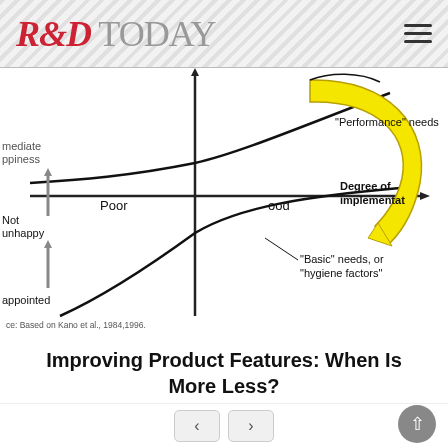R&D TODAY
[Figure (other): Kano model diagram showing three curves: 'Performance' needs (upper curve with yellow arrow arc), 'Basic' needs or 'hygiene factors' (lower curve), with axes for customer happiness/unhappiness (vertical) and degree of implementation Poor to Good (horizontal). Labels: immediate happiness, Not unhappy, appointed, Poor, Good, Degree of implementation. Source note: Based on Kano et al., 1984,1996.]
Improving Product Features: When Is More Less?
Different Types Of Feature Have Different Effects On Customer Satisfaction - Analysis By Quality...